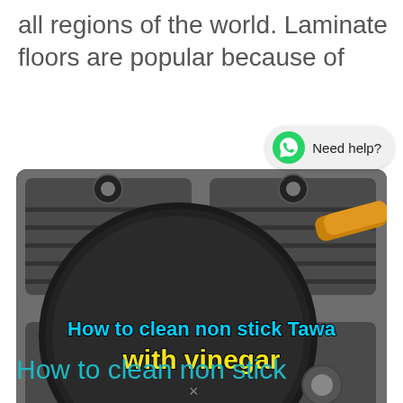all regions of the world. Laminate floors are popular because of
[Figure (screenshot): WhatsApp chat widget with green phone icon and 'Need help?' text on grey pill background]
[Figure (photo): Photo of a non-stick tawa (flat pan) on a gas stove with overlaid text 'How to clean non stick Tawa with vinegar']
How to clean non stick
×